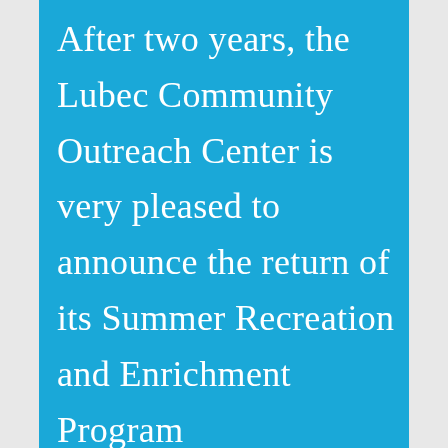After two years, the Lubec Community Outreach Center is very pleased to announce the return of its Summer Recreation and Enrichment Program